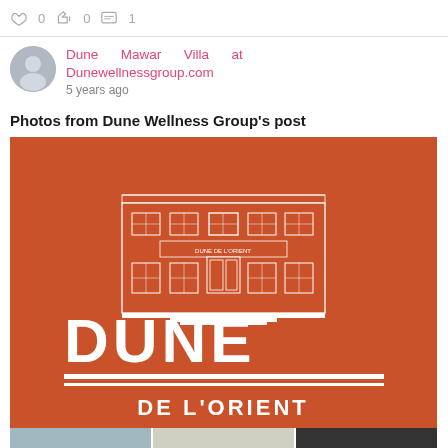[Figure (screenshot): Social media post reaction bar with like, share, and comment icons showing 0 counts]
Dune Mawar Villa at Dunewellnessgroup.com
5 years ago
Photos from Dune Wellness Group's post
[Figure (logo): Dune De L'Orient logo on orange background with white building illustration and stylized DUNE text]